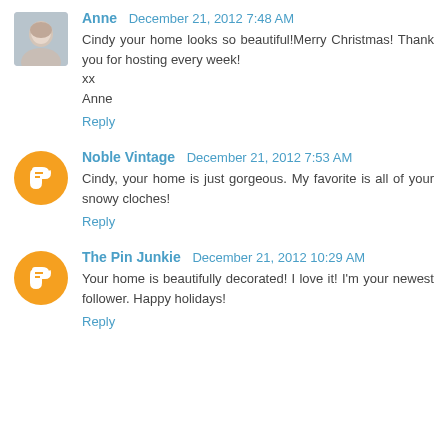Anne  December 21, 2012 7:48 AM
Cindy your home looks so beautiful!Merry Christmas! Thank you for hosting every week!
xx
Anne
Reply
Noble Vintage  December 21, 2012 7:53 AM
Cindy, your home is just gorgeous. My favorite is all of your snowy cloches!
Reply
The Pin Junkie  December 21, 2012 10:29 AM
Your home is beautifully decorated! I love it! I'm your newest follower. Happy holidays!
Reply